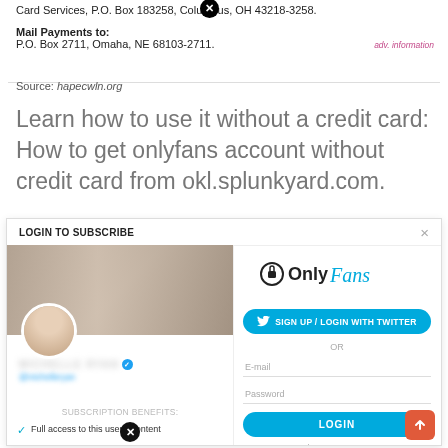Card Services, P.O. Box 183258, Columbus, OH 43218-3258.
Mail Payments to:
P.O. Box 2711, Omaha, NE 68103-2711.
adv. information
Source: hapecwln.org
Learn how to use it without a credit card: How to get onlyfans account without credit card from okl.splunkyard.com.
[Figure (screenshot): LOGIN TO SUBSCRIBE modal showing OnlyFans logo, Twitter login button, email/password fields, login button, and subscription benefits panel on the left with profile image.]